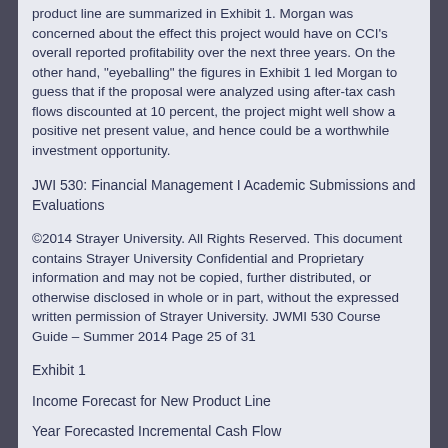product line are summarized in Exhibit 1. Morgan was concerned about the effect this project would have on CCI's overall reported profitability over the next three years. On the other hand, "eyeballing" the figures in Exhibit 1 led Morgan to guess that if the proposal were analyzed using after-tax cash flows discounted at 10 percent, the project might well show a positive net present value, and hence could be a worthwhile investment opportunity.
JWI 530: Financial Management I Academic Submissions and Evaluations
©2014 Strayer University. All Rights Reserved. This document contains Strayer University Confidential and Proprietary information and may not be copied, further distributed, or otherwise disclosed in whole or in part, without the expressed written permission of Strayer University. JWMI 530 Course Guide – Summer 2014 Page 25 of 31
Exhibit 1
Income Forecast for New Product Line
Year Forecasted Incremental Cash Flow